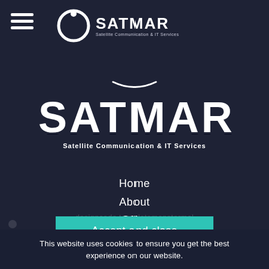[Figure (logo): Hamburger menu icon (three horizontal white lines) in top left]
[Figure (logo): SATMAR logo in top center with circular orbit icon and text 'SATMAR Satellite Communication & IT Services']
[Figure (logo): Large SATMAR logo with arc divider and tagline 'Satellite Communication & IT Services']
Home
About
Offer
News
Contact
Privacy Policy
Terms & Conditions
Accept and close
This website uses cookies to ensure you get the best experience on our website.